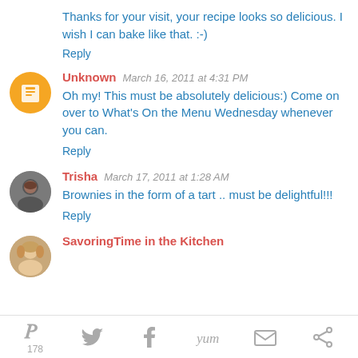Thanks for your visit, your recipe looks so delicious. I wish I can bake like that. :-)
Reply
Unknown  March 16, 2011 at 4:31 PM
Oh my! This must be absolutely delicious:) Come on over to What's On the Menu Wednesday whenever you can.
Reply
Trisha  March 17, 2011 at 1:28 AM
Brownies in the form of a tart .. must be delightful!!!
Reply
SavoringTime in the Kitchen